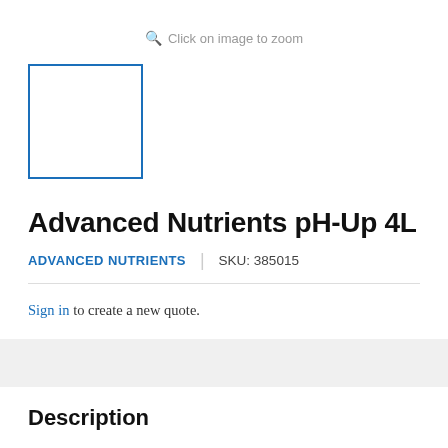Click on image to zoom
[Figure (other): Product thumbnail placeholder — empty white box with blue border]
Advanced Nutrients pH-Up 4L
ADVANCED NUTRIENTS  |  SKU: 385015
Sign in to create a new quote.
Description